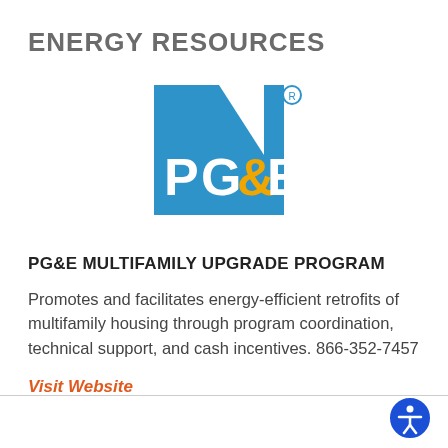ENERGY RESOURCES
[Figure (logo): PG&E logo — blue square with white diagonal stripe and 'PG&E' text in white and gold, with registered trademark symbol]
PG&E MULTIFAMILY UPGRADE PROGRAM
Promotes and facilitates energy-efficient retrofits of multifamily housing through program coordination, technical support, and cash incentives. 866-352-7457
Visit Website